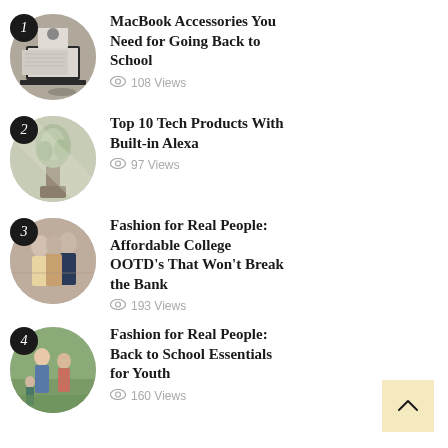1 MacBook Accessories You Need for Going Back to School — 108 Views
2 Top 10 Tech Products With Built-in Alexa — 97 Views
3 Fashion for Real People: Affordable College OOTD's That Won't Break the Bank — 193 Views
4 Fashion for Real People: Back to School Essentials for Youth — 160 Views